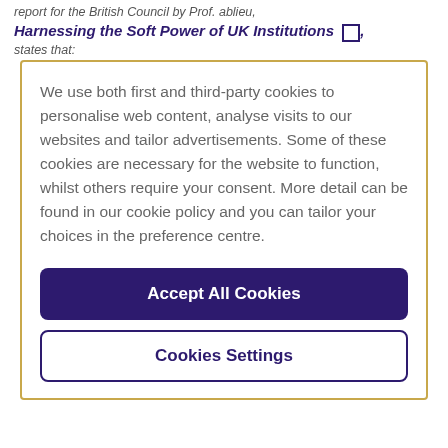report for the British Council by Prof. ablieu,
Harnessing the Soft Power of UK Institutions
states that:
We use both first and third-party cookies to personalise web content, analyse visits to our websites and tailor advertisements. Some of these cookies are necessary for the website to function, whilst others require your consent. More detail can be found in our cookie policy and you can tailor your choices in the preference centre.
Accept All Cookies
Cookies Settings